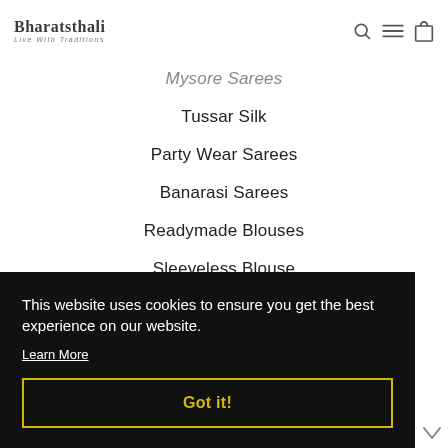Bharatsthali — Live With Traditions
Mysore Sarees
Tussar Silk
Party Wear Sarees
Banarasi Sarees
Readymade Blouses
Sleeveless Blouse
This website uses cookies to ensure you get the best experience on our website. Learn More
Got it!
About Us